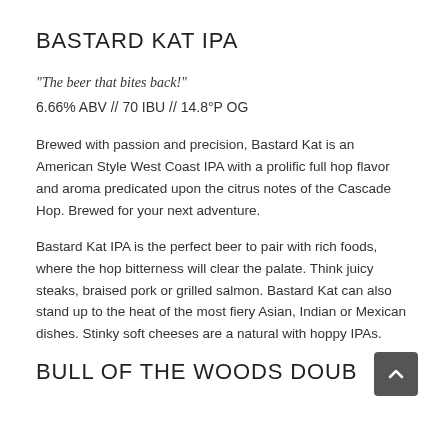BASTARD KAT IPA
“The beer that bites back!”
6.66% ABV // 70 IBU // 14.8°P OG
Brewed with passion and precision, Bastard Kat is an American Style West Coast IPA with a prolific full hop flavor and aroma predicated upon the citrus notes of the Cascade Hop. Brewed for your next adventure.
Bastard Kat IPA is the perfect beer to pair with rich foods, where the hop bitterness will clear the palate. Think juicy steaks, braised pork or grilled salmon. Bastard Kat can also stand up to the heat of the most fiery Asian, Indian or Mexican dishes. Stinky soft cheeses are a natural with hoppy IPAs.
BULL OF THE WOODS DOUBLE IPA